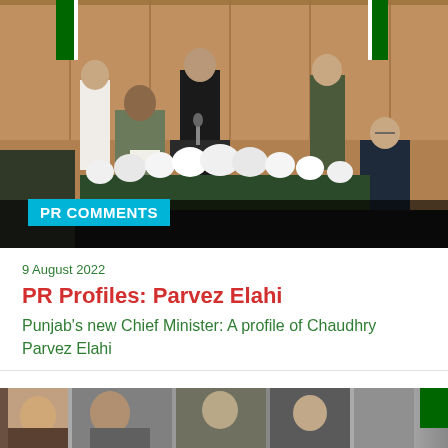[Figure (photo): A formal swearing-in ceremony. A man in a dark waistcoat holds a document while another official stands at a podium. Military officers and officials in formal attire stand in the background with Pakistani flags. White flowers decorate the foreground table. A cyan 'PR COMMENTS' label overlays the lower left.]
9 August 2022
PR Profiles: Parvez Elahi
Punjab's new Chief Minister: A profile of Chaudhry Parvez Elahi
[Figure (photo): Bottom strip showing a partial photograph, cropped — details of people and a decorative background visible.]